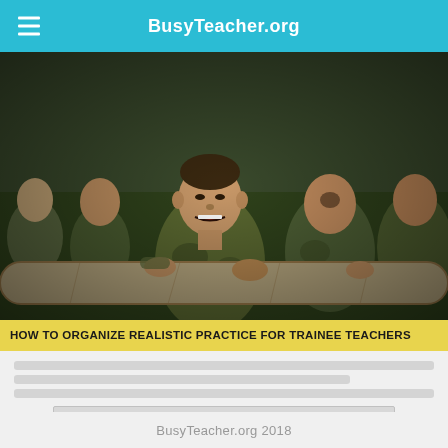BusyTeacher.org
[Figure (photo): Military trainees in camouflage uniforms carrying a large log together during physical training exercise, straining with effort]
HOW TO ORGANIZE REALISTIC PRACTICE FOR TRAINEE TEACHERS
[blurred article preview text]
[Figure (other): Advertisement box]
BusyTeacher.org 2018